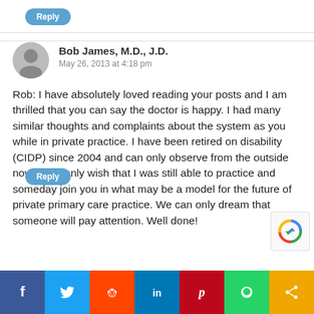Reply
Bob James, M.D., J.D.
May 26, 2013 at 4:18 pm
Rob: I have absolutely loved reading your posts and I am thrilled that you can say the doctor is happy. I had many similar thoughts and complaints about the system as you while in private practice. I have been retired on disability (CIDP) since 2004 and can only observe from the outside now. I can only wish that I was still able to practice and someday join you in what may be a model for the future of private primary care practice. We can only dream that someone will pay attention. Well done!
Reply